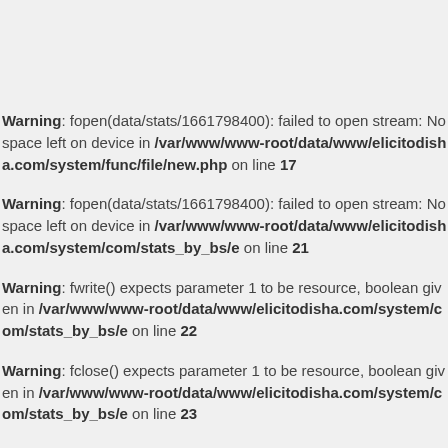Warning: fopen(data/stats/1661798400): failed to open stream: No space left on device in /var/www/www-root/data/www/elicitodisha.com/system/func/file/new.php on line 17
Warning: fopen(data/stats/1661798400): failed to open stream: No space left on device in /var/www/www-root/data/www/elicitodisha.com/system/com/stats_by_bs/e on line 21
Warning: fwrite() expects parameter 1 to be resource, boolean given in /var/www/www-root/data/www/elicitodisha.com/system/com/stats_by_bs/e on line 22
Warning: fclose() expects parameter 1 to be resource, boolean given in /var/www/www-root/data/www/elicitodisha.com/system/com/stats_by_bs/e on line 23